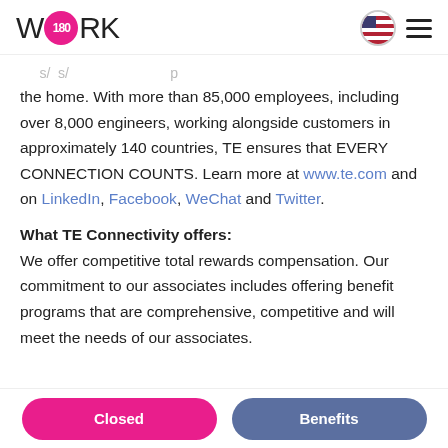WORK180 logo with navigation icons
the home. With more than 85,000 employees, including over 8,000 engineers, working alongside customers in approximately 140 countries, TE ensures that EVERY CONNECTION COUNTS. Learn more at www.te.com and on LinkedIn, Facebook, WeChat and Twitter.
What TE Connectivity offers:
We offer competitive total rewards compensation. Our commitment to our associates includes offering benefit programs that are comprehensive, competitive and will meet the needs of our associates.